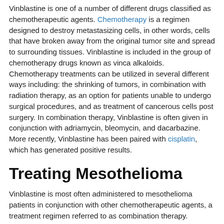Vinblastine is one of a number of different drugs classified as chemotherapeutic agents. Chemotherapy is a regimen designed to destroy metastasizing cells, in other words, cells that have broken away from the original tumor site and spread to surrounding tissues. Vinblastine is included in the group of chemotherapy drugs known as vinca alkaloids. Chemotherapy treatments can be utilized in several different ways including: the shrinking of tumors, in combination with radiation therapy, as an option for patients unable to undergo surgical procedures, and as treatment of cancerous cells post surgery. In combination therapy, Vinblastine is often given in conjunction with adriamycin, bleomycin, and dacarbazine. More recently, Vinblastine has been paired with cisplatin, which has generated positive results.
Treating Mesothelioma
Vinblastine is most often administered to mesothelioma patients in conjunction with other chemotherapeutic agents, a treatment regimen referred to as combination therapy. Mesothelioma is a malignant cancer normally associated with prolonged asbestos exposure. Those occupations with the